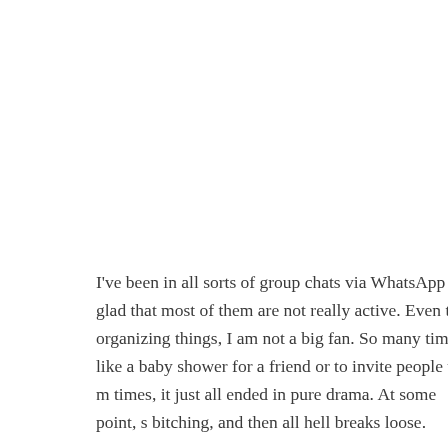I've been in all sorts of group chats via WhatsApp and glad that most of them are not really active. Even tho organizing things, I am not a big fan. So many times, like a baby shower for a friend or to invite people to m times, it just all ended in pure drama. At some point, s bitching, and then all hell breaks loose.
The thing is, I always try to be polite and all, but when nice together for someone else and you get in the rin